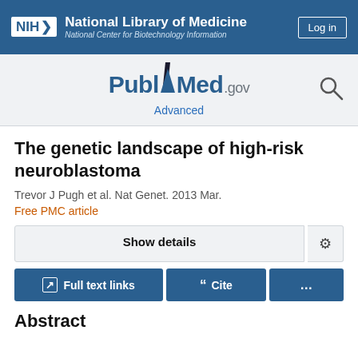[Figure (logo): NIH National Library of Medicine header bar with Log in button]
[Figure (logo): PubMed.gov logo with search icon and Advanced link]
The genetic landscape of high-risk neuroblastoma
Trevor J Pugh et al. Nat Genet. 2013 Mar.
Free PMC article
Show details
Full text links  Cite  ...
Abstract